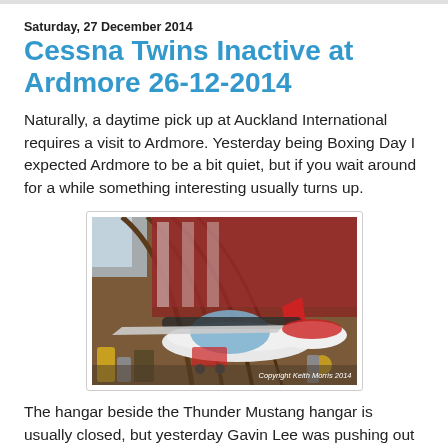Saturday, 27 December 2014
Cessna Twins Inactive at Ardmore 26-12-2014
Naturally, a daytime pick up at Auckland International requires a visit to Ardmore.  Yesterday being Boxing Day I expected Ardmore to be a bit quiet, but if you wait around for a while something interesting usually turns up.
[Figure (photo): Interior of an aircraft hangar showing multiple small aircraft parked inside, with arched wooden ceiling structure visible. Copyright Keith Morris 2014.]
The hangar beside the Thunder Mustang hangar is usually closed, but yesterday Gavin Lee was pushing out his Europa